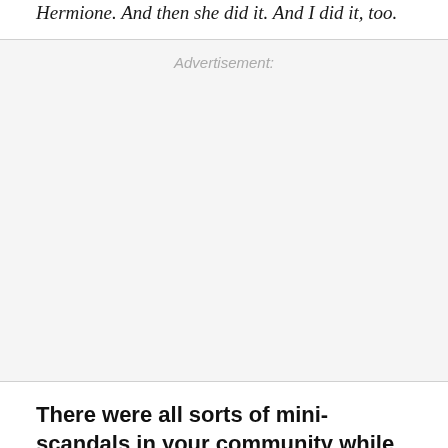Hermione. And then she did it. And I did it, too.
Advertisement:
There were all sorts of mini-scandals in your community while you lived there: debates over